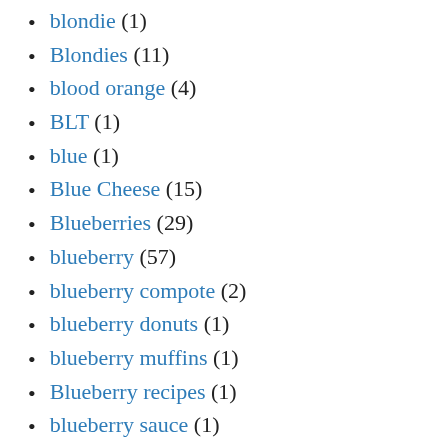blondie (1)
Blondies (11)
blood orange (4)
BLT (1)
blue (1)
Blue Cheese (15)
Blueberries (29)
blueberry (57)
blueberry compote (2)
blueberry donuts (1)
blueberry muffins (1)
Blueberry recipes (1)
blueberry sauce (1)
board (1)
Bob's Red Mill (1)
Bobbs-Merrill (1)